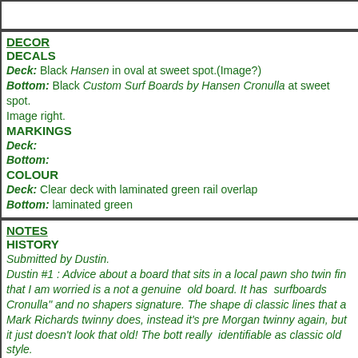DECOR
DECALS
Deck: Black Hansen in oval at sweet spot.(Image?)
Bottom: Black Custom Surf Boards by Hansen Cronulla at sweet spot. Image right.
MARKINGS
Deck:
Bottom:
COLOUR
Deck: Clear deck with laminated green rail overlap
Bottom: laminated green
NOTES
HISTORY
Submitted by Dustin.
Dustin #1 :  Advice about a board that sits in a local pawn sho twin fin that I am worried is a not a genuine  old board. It has  surfboards Cronulla" and no shapers signature. The shape di classic lines that a Mark Richards twinny does, instead it's pre Morgan twinny again, but it just doesn't look that old! The bott really  identifiable as classic old style.